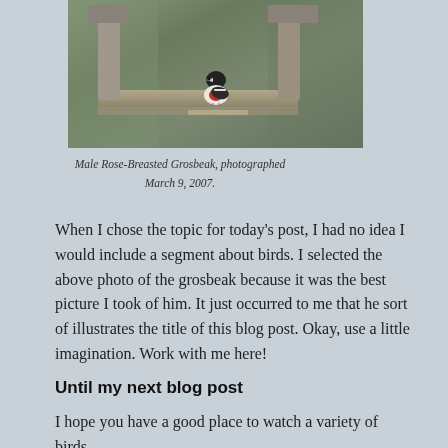[Figure (photo): A male Rose-Breasted Grosbeak bird perched near a wooden bird feeder, photographed outdoors.]
Male Rose-Breasted Grosbeak, photographed March 9, 2007.
When I chose the topic for today's post, I had no idea I would include a segment about birds. I selected the above photo of the grosbeak because it was the best picture I took of him. It just occurred to me that he sort of illustrates the title of this blog post. Okay, use a little imagination. Work with me here!
Until my next blog post
I hope you have a good place to watch a variety of birds.